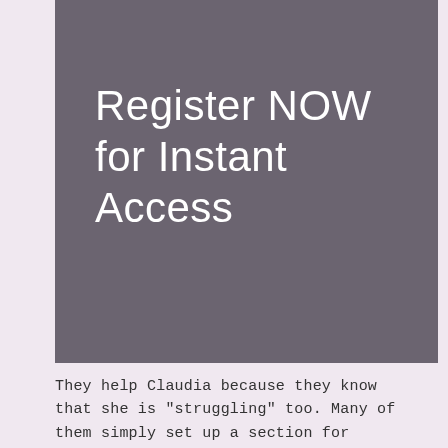[Figure (other): Dark grey banner with white large text reading 'Register NOW for Instant Access']
They help Claudia because they know that she is "struggling" too. Many of them simply set up a section for nights, where there would be a bar.